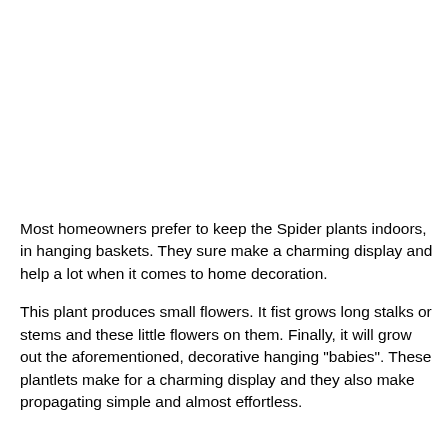Most homeowners prefer to keep the Spider plants indoors, in hanging baskets. They sure make a charming display and help a lot when it comes to home decoration.
This plant produces small flowers. It fist grows long stalks or stems and these little flowers on them. Finally, it will grow out the aforementioned, decorative hanging "babies". These plantlets make for a charming display and they also make propagating simple and almost effortless.